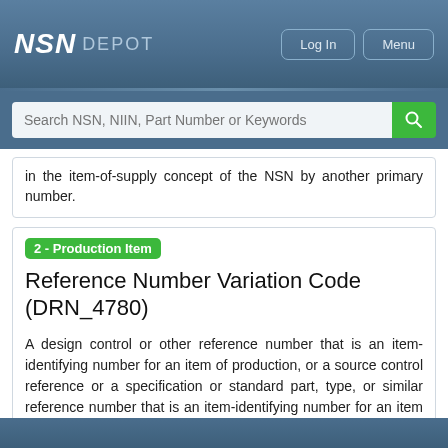NSN DEPOT — Log In | Menu
in the item-of-supply concept of the NSN by another primary number.
2 - Production Item
Reference Number Variation Code (DRN_4780)
A design control or other reference number that is an item-identifying number for an item of production, or a source control reference or a specification or standard part, type, or similar reference number that is an item-identifying number for an item of supply.